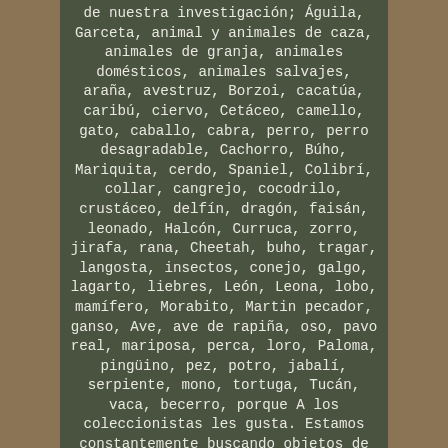de nuestra investigación; Águila, Garceta, animal y animales de caza, animales de granja, animales domésticos, animales salvajes, araña, avestruz, Borzoi, cacatúa, caribú, ciervo, Cetáceo, camello, gato, caballo, cabra, perro, perro desagradable, Cachorro, Búho, Mariquita, cerdo, Spaniel, Colibrí, collar, cangrejo, cocodrilo, crustáceo, delfín, dragón, faisán, leonado, Halcón, Curruca, zorro, jirafa, rana, Cheetah, buho, tragar, langosta, insectos, conejo, galgo, lagarto, liebres, León, Leona, lobo, mamífero, Morabito, Martin pecador, ganso, Ave, ave de rapiña, oso, pavo real, mariposa, perca, loro, Paloma, pingüino, pez, potro, jabalí, serpiente, mono, tortuga, Tucán, vaca, becerro, porque A los coleccionistas les gusta. Estamos constantemente buscando objetos de estilo; Estilo animal, estilo del arte y del arte, estilo del Art Deco